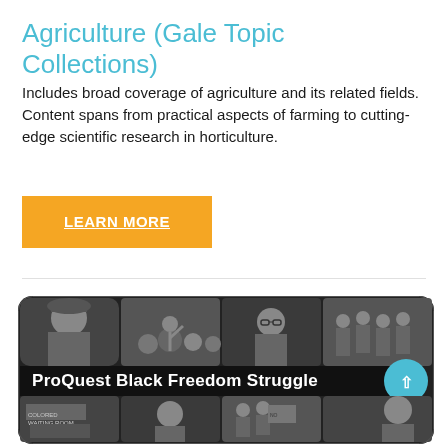Agriculture (Gale Topic Collections)
Includes broad coverage of agriculture and its related fields. Content spans from practical aspects of farming to cutting-edge scientific research in horticulture.
LEARN MORE
[Figure (photo): Collage of black and white historical photographs related to the ProQuest Black Freedom Struggle collection, showing civil rights leaders and historical figures including a woman in a hat, a speaker addressing a crowd, Malcolm X, soldiers, a 'Colored Waiting Room' sign, Rosa Parks, protesters with signs, and Harriet Tubman. Bold white text reads 'ProQuest Black Freedom Struggle'. A teal circular arrow button is visible on the right.]